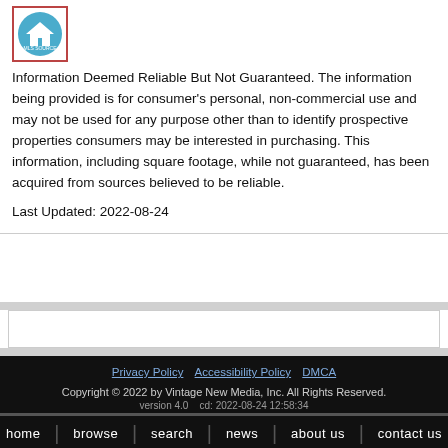[Figure (logo): MLS Source circular logo with house icon inside a teal/blue circle, bordered by a red rectangle]
Information Deemed Reliable But Not Guaranteed. The information being provided is for consumer's personal, non-commercial use and may not be used for any purpose other than to identify prospective properties consumers may be interested in purchasing. This information, including square footage, while not guaranteed, has been acquired from sources believed to be reliable.
Last Updated: 2022-08-24
Privacy Policy  Accessibility Policy  DMCA
Copyright © 2022 by Vintage New Media, Inc. All Rights Reserved.
version 4.0  cd: 2022-08-24 12:58:34
home  browse  search  news  about us  contact us